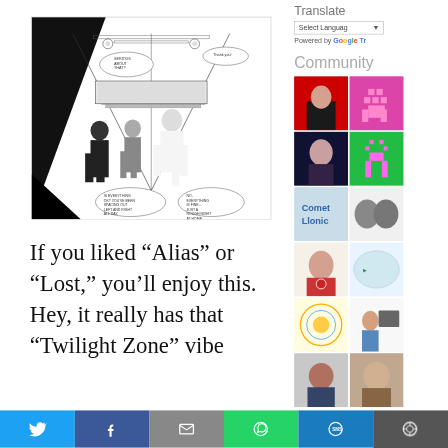[Figure (illustration): Black and white comic strip showing figures in what appears to be a briefing room or control center, with speech bubbles. Text in bubbles reads 'IS EVERYTHING OK? YOU'VE BEEN SPACING OUT LEFT AND RIGHT ALL DAY.' and 'NO, EVERYTHING IS FINE... JUST A ROUGH NIGHT AT HOME.']
If you liked “Alias” or “Lost,” you’ll enjoy this. Hey, it really has that “Twilight Zone” vibe
[Figure (screenshot): Right sidebar showing: Translate widget with 'Select Language' dropdown and 'Powered by Google Translate' text. Below that a 'Community' section with a grid of 10+ thumbnail images including a man in red background, pixel art chair, woman's face, pixel art arch on green, 'Comet Llonic' text image, two cats/dogs, Jesus image, world map, colorful circular art, person at computer, and two portrait photos.]
Twitter share | Facebook share | Email share | WhatsApp share | SMS share | Other share